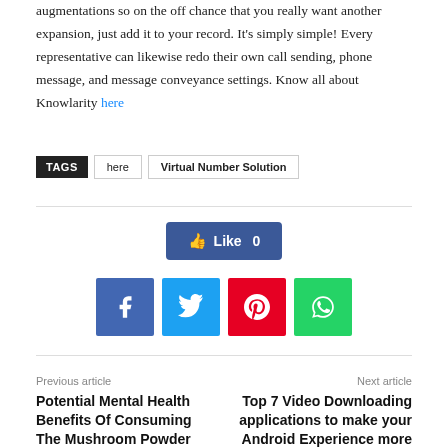augmentations so on the off chance that you really want another expansion, just add it to your record. It's simply simple! Every representative can likewise redo their own call sending, phone message, and message conveyance settings. Know all about Knowlarity here
TAGS   here   Virtual Number Solution
[Figure (other): Facebook Like button showing Like 0]
[Figure (other): Social share buttons: Facebook, Twitter, Pinterest, WhatsApp]
Previous article — Potential Mental Health Benefits Of Consuming The Mushroom Powder
Next article — Top 7 Video Downloading applications to make your Android Experience more